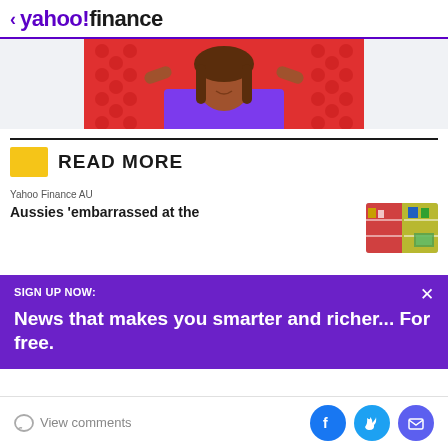< yahoo!finance
[Figure (illustration): Illustrated woman with brown skin and long brown hair wearing a purple top, against a red polka-dot background]
READ MORE
Yahoo Finance AU
Aussies 'embarrassed at the
[Figure (photo): Thumbnail image of a store interior with shelves of merchandise]
SIGN UP NOW:
News that makes you smarter and richer... For free.
View comments